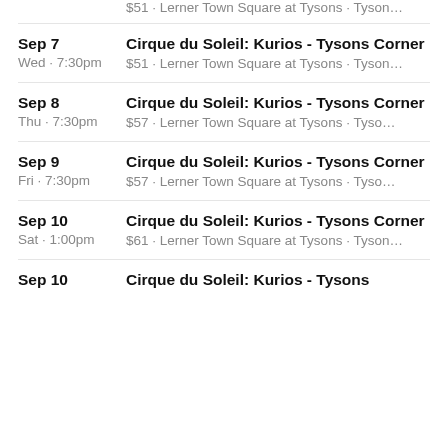$51 · Lerner Town Square at Tysons · Tyson…
Sep 7 | Wed · 7:30pm | Cirque du Soleil: Kurios - Tysons Corner | $51 · Lerner Town Square at Tysons · Tyson…
Sep 8 | Thu · 7:30pm | Cirque du Soleil: Kurios - Tysons Corner | $57 · Lerner Town Square at Tysons · Tyso…
Sep 9 | Fri · 7:30pm | Cirque du Soleil: Kurios - Tysons Corner | $57 · Lerner Town Square at Tysons · Tyso…
Sep 10 | Sat · 1:00pm | Cirque du Soleil: Kurios - Tysons Corner | $61 · Lerner Town Square at Tysons · Tyson…
Sep 10 | Cirque du Soleil: Kurios - Tysons